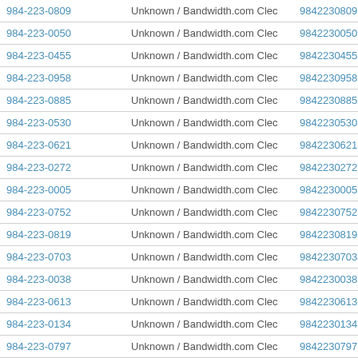| Phone | Carrier | Number | Action |
| --- | --- | --- | --- |
| 984-223-0809 | Unknown / Bandwidth.com Clec | 9842230809 | Vie |
| 984-223-0050 | Unknown / Bandwidth.com Clec | 9842230050 | Vie |
| 984-223-0455 | Unknown / Bandwidth.com Clec | 9842230455 | Vie |
| 984-223-0958 | Unknown / Bandwidth.com Clec | 9842230958 | Vie |
| 984-223-0885 | Unknown / Bandwidth.com Clec | 9842230885 | Vie |
| 984-223-0530 | Unknown / Bandwidth.com Clec | 9842230530 | Vie |
| 984-223-0621 | Unknown / Bandwidth.com Clec | 9842230621 | Vie |
| 984-223-0272 | Unknown / Bandwidth.com Clec | 9842230272 | Vie |
| 984-223-0005 | Unknown / Bandwidth.com Clec | 9842230005 | Vie |
| 984-223-0752 | Unknown / Bandwidth.com Clec | 9842230752 | Vie |
| 984-223-0819 | Unknown / Bandwidth.com Clec | 9842230819 | Vie |
| 984-223-0703 | Unknown / Bandwidth.com Clec | 9842230703 | Vie |
| 984-223-0038 | Unknown / Bandwidth.com Clec | 9842230038 | Vie |
| 984-223-0613 | Unknown / Bandwidth.com Clec | 9842230613 | Vie |
| 984-223-0134 | Unknown / Bandwidth.com Clec | 9842230134 | Vie |
| 984-223-0797 | Unknown / Bandwidth.com Clec | 9842230797 | Vie |
| 984-223-0847 | Unknown / Bandwidth.com Clec | 9842230847 | Vie |
| 984-223-0786 | Unknown / Bandwidth.com Clec | 9842230786 | Vie |